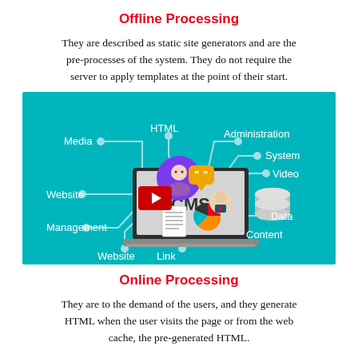Offline Processing
They are described as static site generators and are the pre-processes of the system. They do not require the server to apply templates at the point of their start.
[Figure (infographic): CMS infographic on teal/turquoise background showing a laptop with CMS label, surrounded by labeled nodes: Media, HTML, Administration, System, Video, Data, Content, Link, Website, Management, Website. Decorative icons include user avatar, speech bubble, pie chart, document, database, and play button.]
Online Processing
They are to the demand of the users, and they generate HTML when the user visits the page or from the web cache, the pre-generated HTML.